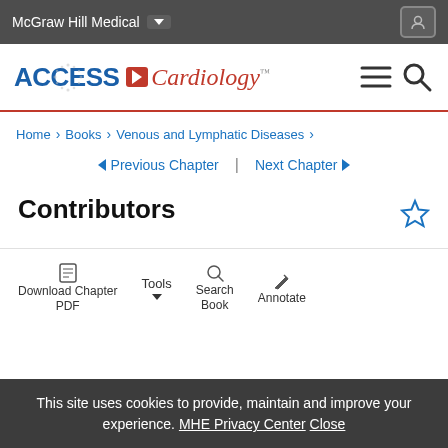McGraw Hill Medical
[Figure (logo): ACCESS Cardiology logo with red arrow and dot circle]
Home > Books > Venous and Lymphatic Diseases >
Previous Chapter | Next Chapter
Contributors
Download Chapter PDF  Tools  Search Book  Annotate
This site uses cookies to provide, maintain and improve your experience. MHE Privacy Center Close